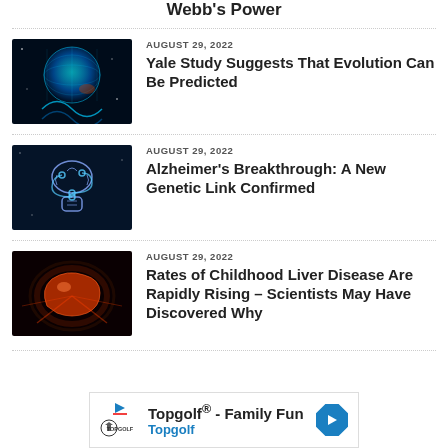Webb's Power
[Figure (photo): Digital illustration of Earth with DNA helix and glowing blue light]
AUGUST 29, 2022
Yale Study Suggests That Evolution Can Be Predicted
[Figure (photo): Dark blue illustration of a brain and digestive system connected in a circular cycle]
AUGUST 29, 2022
Alzheimer's Breakthrough: A New Genetic Link Confirmed
[Figure (photo): Orange glowing liver illustration on dark background]
AUGUST 29, 2022
Rates of Childhood Liver Disease Are Rapidly Rising – Scientists May Have Discovered Why
Topgolf® - Family Fun Topgolf